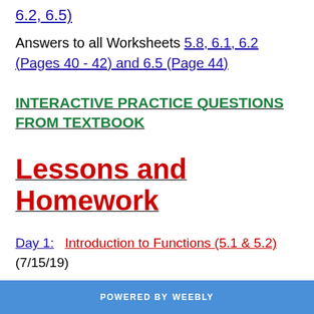6.2, 6.5)
Answers to all Worksheets 5.8, 6.1, 6.2 (Pages 40 - 42) and 6.5 (Page 44)
INTERACTIVE PRACTICE QUESTIONS FROM TEXTBOOK
Lessons and Homework
Day 1:  Introduction to Functions (5.1 & 5.2) (7/15/19)
Homework: (Optional) Domain and Range #1
POWERED BY weebly